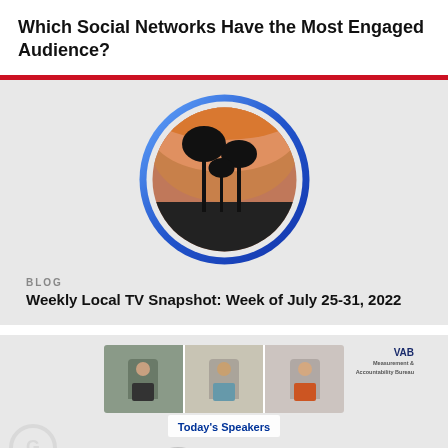Which Social Networks Have the Most Engaged Audience?
[Figure (photo): Circular framed photo of palm trees silhouetted against an orange sunset sky with city skyline, surrounded by a blue gradient ring border]
BLOG
Weekly Local TV Snapshot: Week of July 25-31, 2022
[Figure (screenshot): Video thumbnail showing three people (a woman on left, man in middle, woman in orange on right) in a video call or presentation. Text overlay reads 'Today's Speakers' in bold blue. VAB logo visible in bottom right.]